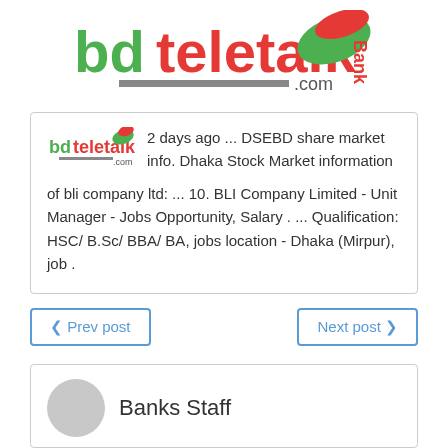[Figure (logo): bdteletalk.com Bank logo with green and red swoosh design]
2 days ago ... DSEBD share market info. Dhaka Stock Market information of bli company ltd: ... 10. BLI Company Limited - Unit Manager - Jobs Opportunity, Salary . ... Qualification: HSC/ B.Sc/ BBA/ BA, jobs location - Dhaka (Mirpur), job .
❮ Prev post
Next post ❯
Banks Staff